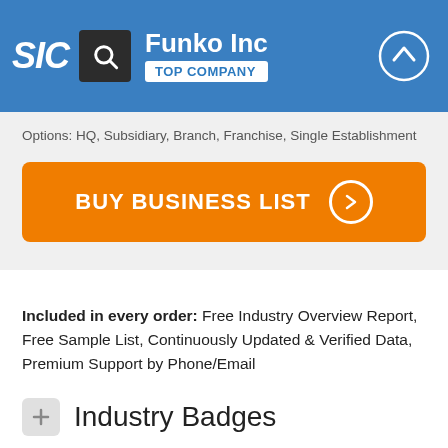Funko Inc TOP COMPANY
Options: HQ, Subsidiary, Branch, Franchise, Single Establishment
BUY BUSINESS LIST
Included in every order: Free Industry Overview Report, Free Sample List, Continuously Updated & Verified Data, Premium Support by Phone/Email
Industry Badges
The industry badges represent the primary business activity of Funko Inc at this specific location.